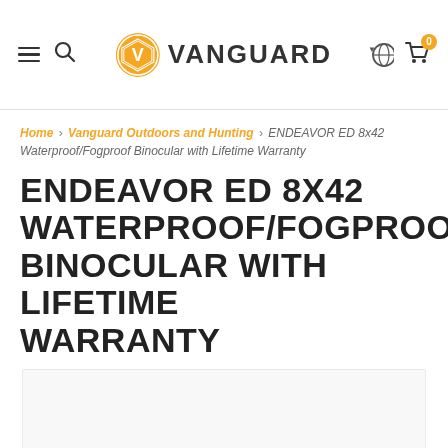Vanguard — Navigation header with hamburger menu, search icon, Vanguard logo, globe/language selector, and cart (0 items)
Home › Vanguard Outdoors and Hunting › ENDEAVOR ED 8x42 Waterproof/Fogproof Binocular with Lifetime Warranty
ENDEAVOR ED 8X42 WATERPROOF/FOGPROOF BINOCULAR WITH LIFETIME WARRANTY
[Figure (photo): Product image area (white/light grey background, image not visible in this crop)]